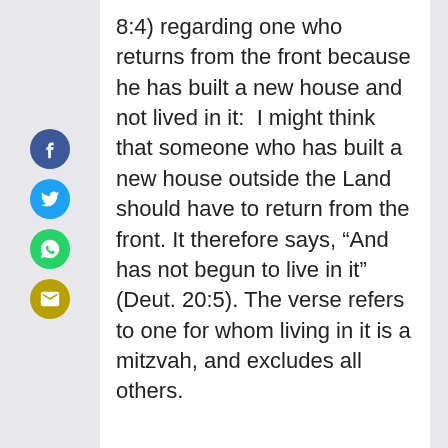8:4) regarding one who returns from the front because he has built a new house and not lived in it: I might think that someone who has built a new house outside the Land should have to return from the front. It therefore says, “And has not begun to live in it” (Deut. 20:5). The verse refers to one for whom living in it is a mitzvah, and excludes all others.